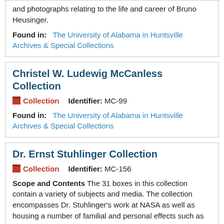Scope and Contents Pamphlets, correspondence, and photographs relating to the life and career of Bruno Heusinger.
Found in: The University of Alabama in Huntsville Archives & Special Collections
Christel W. Ludewig McCanless Collection
Collection   Identifier: MC-99
Found in: The University of Alabama in Huntsville Archives & Special Collections
Dr. Ernst Stuhlinger Collection
Collection   Identifier: MC-156
Scope and Contents The 31 boxes in this collection contain a variety of subjects and media. The collection encompasses Dr. Stuhlinger's work at NASA as well as housing a number of familial and personal effects such as photographs and diaries.